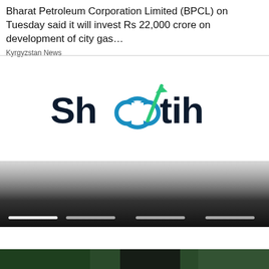Bharat Petroleum Corporation Limited (BPCL) on Tuesday said it will invest Rs 22,000 crore on development of city gas…
Kyrgyzstan News
[Figure (logo): Shootih logo — dark navy bold text with a green upward arrow through the double-o, and an infinity/loop symbol in blue-green]
[Figure (photo): Dark gradient image fading from light at top to dark at bottom with four white horizontal dashes at the bottom]
[Figure (photo): Partial bottom preview of a green-toned image]